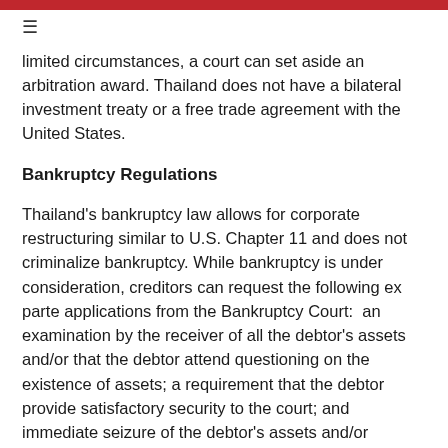≡
limited circumstances, a court can set aside an arbitration award. Thailand does not have a bilateral investment treaty or a free trade agreement with the United States.
Bankruptcy Regulations
Thailand's bankruptcy law allows for corporate restructuring similar to U.S. Chapter 11 and does not criminalize bankruptcy. While bankruptcy is under consideration, creditors can request the following ex parte applications from the Bankruptcy Court:  an examination by the receiver of all the debtor's assets and/or that the debtor attend questioning on the existence of assets; a requirement that the debtor provide satisfactory security to the court; and immediate seizure of the debtor's assets and/or evidence in order to prevent the loss or destruction